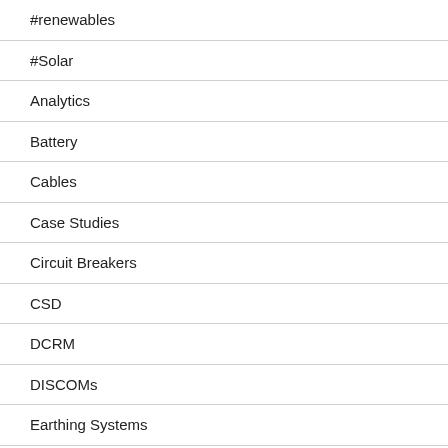#renewables
#Solar
Analytics
Battery
Cables
Case Studies
Circuit Breakers
CSD
DCRM
DISCOMs
Earthing Systems